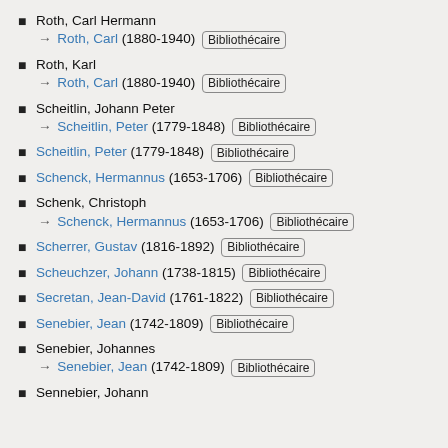Roth, Carl Hermann → Roth, Carl (1880-1940) Bibliothécaire
Roth, Karl → Roth, Carl (1880-1940) Bibliothécaire
Scheitlin, Johann Peter → Scheitlin, Peter (1779-1848) Bibliothécaire
Scheitlin, Peter (1779-1848) Bibliothécaire
Schenck, Hermannus (1653-1706) Bibliothécaire
Schenk, Christoph → Schenck, Hermannus (1653-1706) Bibliothécaire
Scherrer, Gustav (1816-1892) Bibliothécaire
Scheuchzer, Johann (1738-1815) Bibliothécaire
Secretan, Jean-David (1761-1822) Bibliothécaire
Senebier, Jean (1742-1809) Bibliothécaire
Senebier, Johannes → Senebier, Jean (1742-1809) Bibliothécaire
Sennebier, Johann